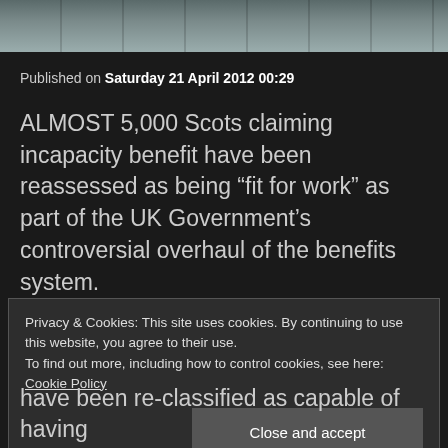[Figure (photo): Partial photo of a building with glass/metal structure, dark background, shown as a cropped strip at top of page]
Published on Saturday 21 April 2012 00:29
ALMOST 5,000 Scots claiming incapacity benefit have been reassessed as being “fit for work” as part of the UK Government’s controversial overhaul of the benefits system.
Privacy & Cookies: This site uses cookies. By continuing to use this website, you agree to their use.
To find out more, including how to control cookies, see here: Cookie Policy
Close and accept
have been re-classified as capable of having